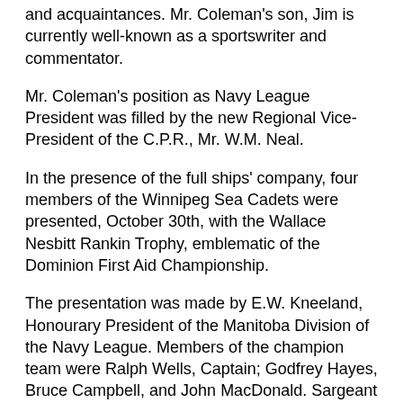and acquaintances. Mr. Coleman's son, Jim is currently well-known as a sportswriter and commentator.
Mr. Coleman's position as Navy League President was filled by the new Regional Vice-President of the C.P.R., Mr. W.M. Neal.
In the presence of the full ships' company, four members of the Winnipeg Sea Cadets were presented, October 30th, with the Wallace Nesbitt Rankin Trophy, emblematic of the Dominion First Aid Championship.
The presentation was made by E.W. Kneeland, Honourary President of the Manitoba Division of the Navy League. Members of the champion team were Ralph Wells, Captain; Godfrey Hayes, Bruce Campbell, and John MacDonald. Sargeant J.C. Day, of the St. John Ambulance Corps, was the team instructor. As a point of interest, Godfrey Hayes is presently a naval captain at C.F.B. Esquimalt in Victoria.
On Friday evening, October 12th, the Corps held its annual jamboree. Lt. Tamkin read a letter from former Sea Cadet Arthur LeMaistre, who was then serving as third officer on an Imperial Oil tanker in the South American trade. Motion pictures of the hornpipe class in action at a recent military tournament, and of the 1929 summer camp were shown. A